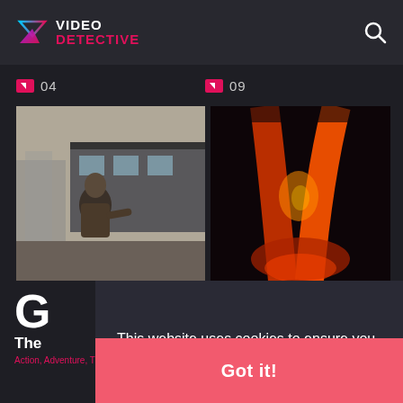VIDEO DETECTIVE
04
09
[Figure (photo): Movie still: man standing near a train, wearing a jacket, bearded, gritty urban setting]
[Figure (photo): Movie still: close-up of crossed legs in orange/red hue against dark background, dramatic lighting]
This website uses cookies to ensure you get the best experience on our website.
Learn more
Got it!
The
Action, Adventure, Thriller
Horror, Thriller